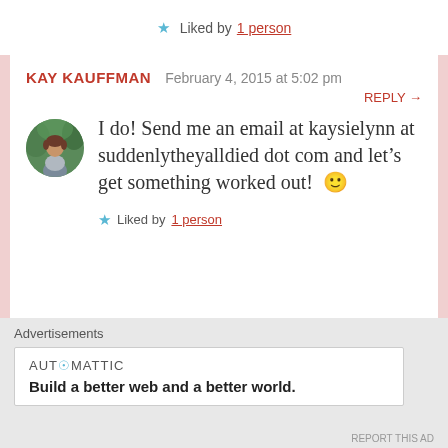★ Liked by 1 person
KAY KAUFFMAN   February 4, 2015 at 5:02 pm
REPLY →
[Figure (photo): Circular avatar photo of a woman outdoors with green trees in background]
I do! Send me an email at kaysielynn at suddenlytheyalldied dot com and let's get something worked out! 🙂
★ Liked by 1 person
Advertisements
AUTOMATTIC
Build a better web and a better world.